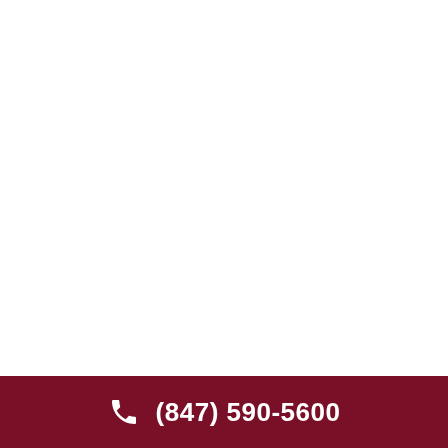[Figure (other): Dark red square icon button with white envelope/email icon]
our full name
[Figure (other): Dark red square icon button with white phone/handset icon]
-mail address
Website
[Figure (other): Light grey circular scroll-to-top button with upward arrow icon]
Save my name, email, and website in this
(847) 590-5600